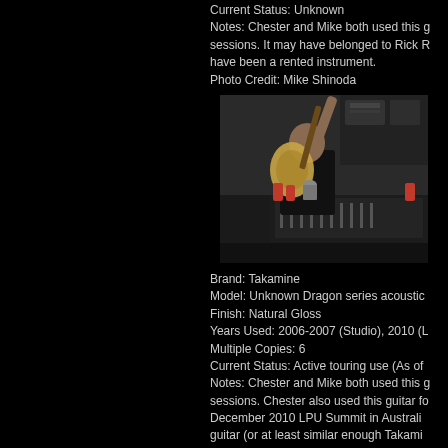Current Status: Unknown
Notes: Chester and Mike both used this g sessions. It may have belonged to Rick R have been a rented instrument.
Photo Credit: Mike Shinoda
[Figure (photo): A person in a recording studio holding up an acoustic guitar overhead with one arm, surrounded by studio equipment and mixing boards.]
Brand: Takamine
Model: Unknown Dragon series acoustic
Finish: Natural Gloss
Years Used: 2006-2007 (Studio), 2010 (L
Multiple Copies: 6
Current Status: Active touring use (As of
Notes: Chester and Mike both used this g sessions. Chester also used this guitar fo December 2010 LPU Summit in Australi guitar (or at least similar enough Takami and both Brad and Mike have used it on the only two members of the band that h